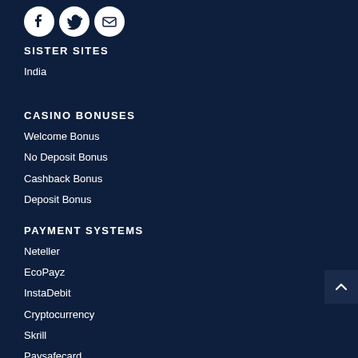[Figure (illustration): Three white circular social media icon buttons (Facebook, Twitter/X, Email or similar)]
SISTER SITES
India
CASINO BONUSES
Welcome Bonus
No Deposit Bonus
Cashback Bonus
Deposit Bonus
PAYMENT SYSTEMS
Neteller
EcoPayz
InstaDebit
Cryptocurrency
Skrill
Paysafecard